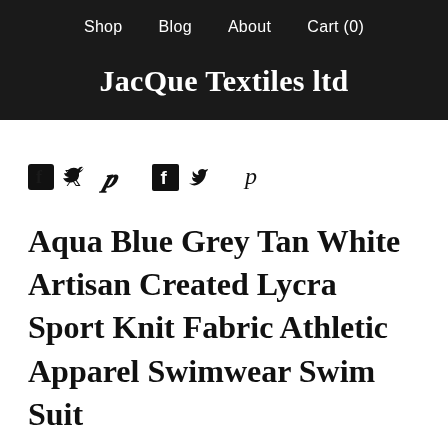Shop   Blog   About   Cart (0)
JacQue Textiles ltd
[Figure (infographic): Social media share icons: Facebook, Twitter, Pinterest]
Aqua Blue Grey Tan White Artisan Created Lycra Sport Knit Fabric Athletic Apparel Swimwear Swim Suit